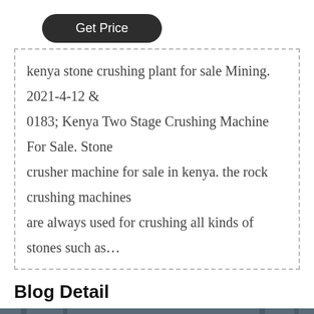Get Price
kenya stone crushing plant for sale Mining. 2021-4-12 & 0183; Kenya Two Stage Crushing Machine For Sale. Stone crusher machine for sale in kenya. the rock crushing machines are always used for crushing all kinds of stones such as…
Blog Detail
[Figure (photo): Industrial stone crushing machine flywheel in a factory setting, red and white large rotating wheel, industrial building background]
Leave Message
Chat Online